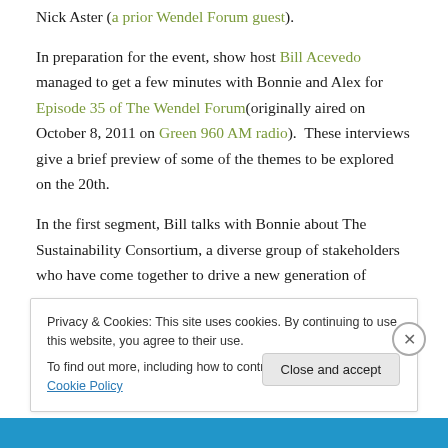Nick Aster (a prior Wendel Forum guest).
In preparation for the event, show host Bill Acevedo managed to get a few minutes with Bonnie and Alex for Episode 35 of The Wendel Forum(originally aired on October 8, 2011 on Green 960 AM radio).  These interviews give a brief preview of some of the themes to be explored on the 20th.
In the first segment, Bill talks with Bonnie about The Sustainability Consortium, a diverse group of stakeholders who have come together to drive a new generation of
Privacy & Cookies: This site uses cookies. By continuing to use this website, you agree to their use.
To find out more, including how to control cookies, see here: Cookie Policy